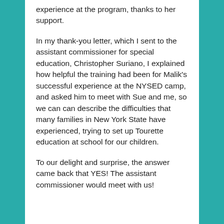experience at the program, thanks to her support.
In my thank-you letter, which I sent to the assistant commissioner for special education, Christopher Suriano, I explained how helpful the training had been for Malik's successful experience at the NYSED camp, and asked him to meet with Sue and me, so we can can describe the difficulties that many families in New York State have experienced, trying to set up Tourette education at school for our children.
To our delight and surprise, the answer came back that YES! The assistant commissioner would meet with us!